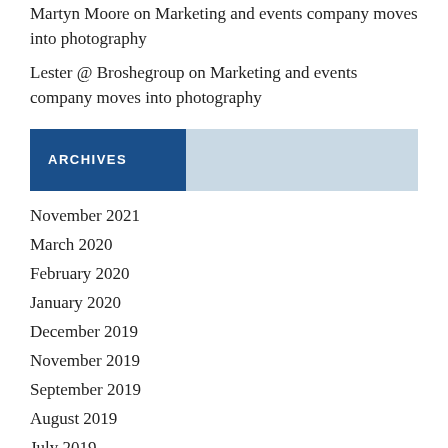Martyn Moore on Marketing and events company moves into photography
Lester @ Broshegroup on Marketing and events company moves into photography
ARCHIVES
November 2021
March 2020
February 2020
January 2020
December 2019
November 2019
September 2019
August 2019
July 2019
May 2019